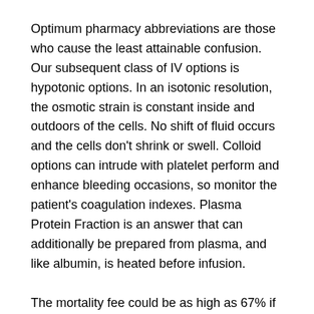Optimum pharmacy abbreviations are those who cause the least attainable confusion. Our subsequent class of IV options is hypotonic options. In an isotonic resolution, the osmotic strain is constant inside and outdoors of the cells. No shift of fluid occurs and the cells don't shrink or swell. Colloid options can intrude with platelet perform and enhance bleeding occasions, so monitor the patient's coagulation indexes. Plasma Protein Fraction is an answer that can additionally be prepared from plasma, and like albumin, is heated before infusion.
The mortality fee could be as high as 67% if extreme hyperkalemia isn't treated quickly. Minute-to-minute ranges of potassium are managed by intracellular to extracellular trade, principally by the sodium-potassium pump that is controlled by insulin and beta-2 receptors. A balance of GI consumption and renal potassium excretion achieves long-term potassium